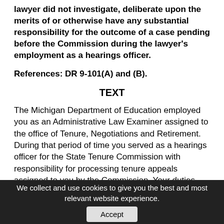lawyer did not investigate, deliberate upon the merits of or otherwise have any substantial responsibility for the outcome of a case pending before the Commission during the lawyer's employment as a hearings officer.
References: DR 9-101(A) and (B).
TEXT
The Michigan Department of Education employed you as an Administrative Law Examiner assigned to the office of Tenure, Negotiations and Retirement. During that period of time you served as a hearings officer for the State Tenure Commission with responsibility for processing tenure appeals assigned to you by the Commission. Your duties included (1) conducting the prehearing conference, (2) sitting as presiding officer
We collect and use cookies to give you the best and most relevant website experience. Accept